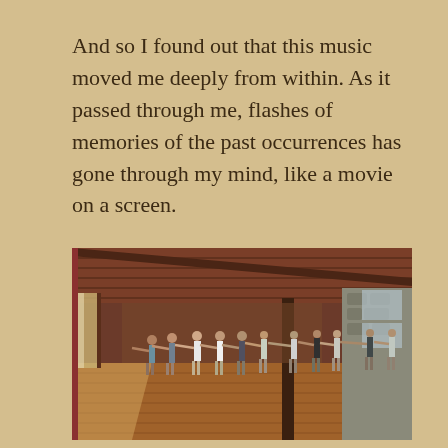And so I found out that this music moved me deeply from within. As it passed through me, flashes of memories of the past occurrences has gone through my mind, like a movie on a screen.
[Figure (photo): Interior of a large wooden-beamed hall with hardwood floors. A line of people stands in a row stretching arms forward, appearing to be in a movement or dance class. Sunlight streams in from large windows on the left. Stone wall visible on the right side.]